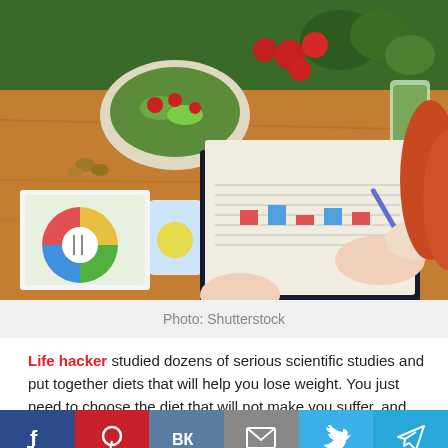[Figure (photo): Overhead view of a woman with red hair writing on a clipboard at a wooden table covered with healthy foods including salads, vegetables, tomatoes, avocados, and a glass of water with lemon. Nutrition/diet planning charts visible on the table.]
Photo: Shutterstock
Life hacker studied dozens of serious scientific studies and put together diets that will help you lose weight. You just need to choose the diet that will not make you suffer, and make it a part of your life.